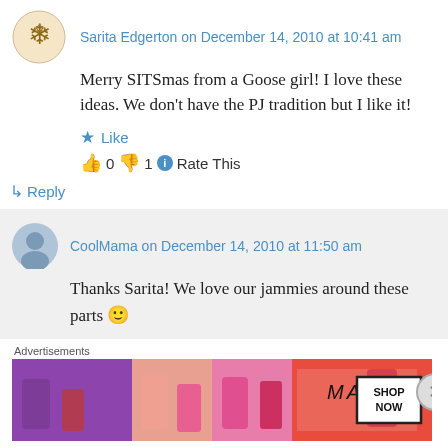Sarita Edgerton on December 14, 2010 at 10:41 am
Merry SITSmas from a Goose girl! I love these ideas. We don't have the PJ tradition but I like it!
Like
👍 0 👎 1 ℹ Rate This
↳ Reply
CoolMama on December 14, 2010 at 11:50 am
Thanks Sarita! We love our jammies around these parts 🙂
Advertisements
[Figure (photo): MAC Cosmetics advertisement banner showing lipsticks in purple, pink, and red colors with MAC logo and SHOP NOW button]